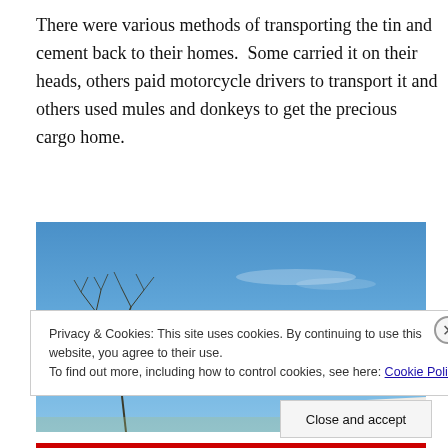There were various methods of transporting the tin and cement back to their homes.  Some carried it on their heads, others paid motorcycle drivers to transport it and others used mules and donkeys to get the precious cargo home.
[Figure (photo): Outdoor photograph showing blue sky with thin tree branches visible on the left side and the top of a white structure or roof at the bottom right.]
Privacy & Cookies: This site uses cookies. By continuing to use this website, you agree to their use.
To find out more, including how to control cookies, see here: Cookie Policy
Close and accept